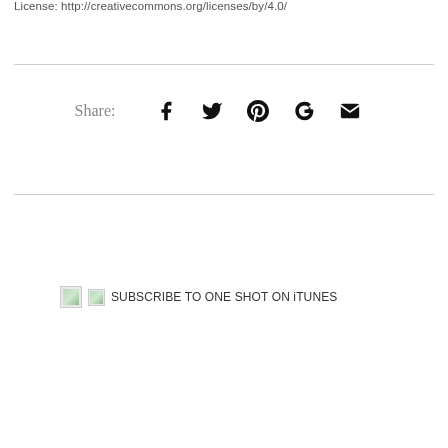License: http://creativecommons.org/licenses/by/4.0/
Share:  [facebook] [twitter] [pinterest] [google+] [email]
[Figure (other): Broken image icon followed by 'SUBSCRIBE TO ONE SHOT ON iTUNES' text link with small broken image icon]